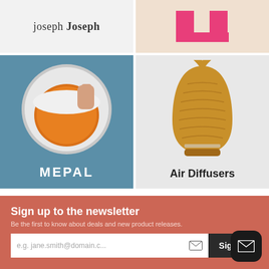[Figure (logo): Joseph Joseph brand logo in grey/black text on light grey background]
[Figure (logo): Pink block letter L shapes logo on beige/peach background]
[Figure (photo): MEPAL branded image showing a hand holding a round container with orange liquid, white and grey bowl, blue background, MEPAL text in white]
[Figure (photo): Air Diffusers product image showing a wooden teardrop-shaped diffuser on light grey background with 'Air Diffusers' text]
Sign up to the newsletter
Be the first to know about deals and new product releases.
e.g. jane.smith@domain.c...
Signup